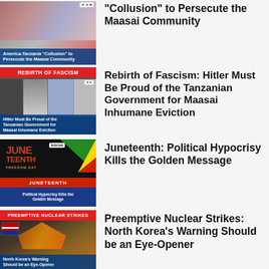[Figure (screenshot): Thumbnail for article about America-Tanzania Collusion to Persecute the Maasai Community]
“Collusion” to Persecute the Maasai Community
[Figure (screenshot): Thumbnail for Rebirth of Fascism article: Hitler Must Be Proud of the Tanzanian Government for Maasai Inhumane Eviction]
Rebirth of Fascism: Hitler Must Be Proud of the Tanzanian Government for Maasai Inhumane Eviction
[Figure (screenshot): Thumbnail for Juneteenth article: Political Hypocrisy Kills the Golden Message]
Juneteenth: Political Hypocrisy Kills the Golden Message
[Figure (screenshot): Thumbnail for Preemptive Nuclear Strikes article: North Korea’s Warning Should be an Eye-Opener]
Preemptive Nuclear Strikes: North Korea’s Warning Should be an Eye-Opener